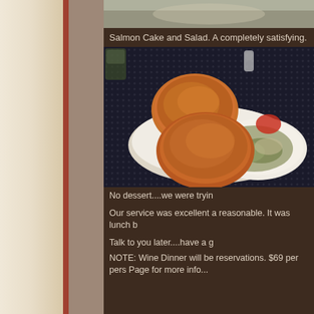[Figure (photo): Top portion of a food photo showing what appears to be a plate with light-colored food items]
Salmon Cake and Salad.  A completely satisfying.
[Figure (photo): Photo of salmon cakes on a white plate with salad on the side, served on a dark dotted tablecloth]
No dessert....we were tryin
Our service was excellent a reasonable.  It was lunch b
Talk to you later....have a g
NOTE:  Wine Dinner will be reservations.  $69 per pers Page for more info...